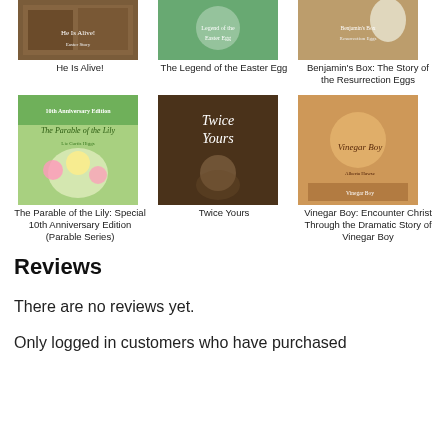[Figure (illustration): Book cover: He Is Alive!]
He Is Alive!
[Figure (illustration): Book cover: The Legend of the Easter Egg]
The Legend of the Easter Egg
[Figure (illustration): Book cover: Benjamin's Box: The Story of the Resurrection Eggs]
Benjamin's Box: The Story of the Resurrection Eggs
[Figure (illustration): Book cover: The Parable of the Lily: Special 10th Anniversary Edition (Parable Series)]
The Parable of the Lily: Special 10th Anniversary Edition (Parable Series)
[Figure (illustration): Book cover: Twice Yours]
Twice Yours
[Figure (illustration): Book cover: Vinegar Boy: Encounter Christ Through the Dramatic Story of Vinegar Boy]
Vinegar Boy: Encounter Christ Through the Dramatic Story of Vinegar Boy
Reviews
There are no reviews yet.
Only logged in customers who have purchased